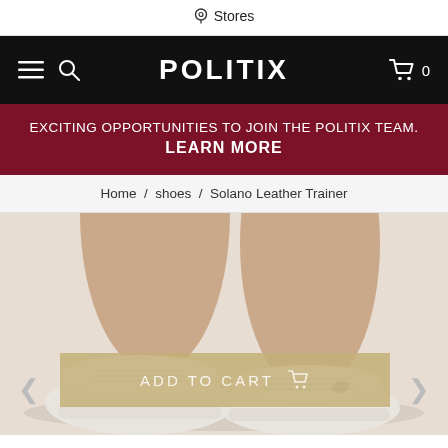Stores
POLITIX  0
EXCITING OPPORTUNITIES TO JOIN THE POLITIX TEAM. LEARN MORE
Home / shoes / Solano Leather Trainer
[Figure (photo): Close-up photo of a person's bare legs and feet wearing white Solano Leather Trainer sneakers on a white/cream background]
ADD TO CART